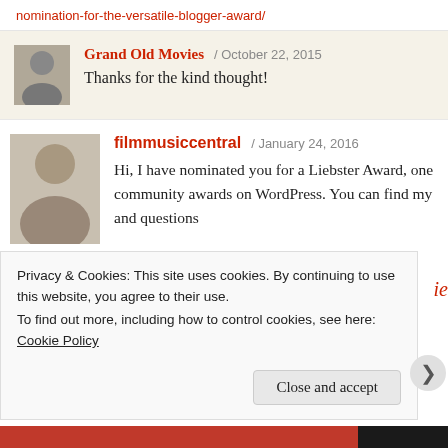nomination-for-the-versatile-blogger-award/
Grand Old Movies / October 22, 2015
Thanks for the kind thought!
filmmusiccentral / January 24, 2016
Hi, I have nominated you for a Liebster Award, one community awards on WordPress. You can find my and questions
Privacy & Cookies: This site uses cookies. By continuing to use this website, you agree to their use.
To find out more, including how to control cookies, see here: Cookie Policy
Close and accept